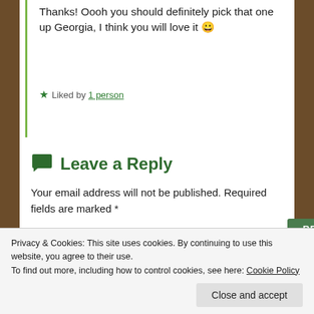Thanks! Oooh you should definitely pick that one up Georgia, I think you will love it 😀
★ Liked by 1 person
REPLY
Leave a Reply
Your email address will not be published. Required fields are marked *
COMMENT *
Privacy & Cookies: This site uses cookies. By continuing to use this website, you agree to their use.
To find out more, including how to control cookies, see here: Cookie Policy
Close and accept